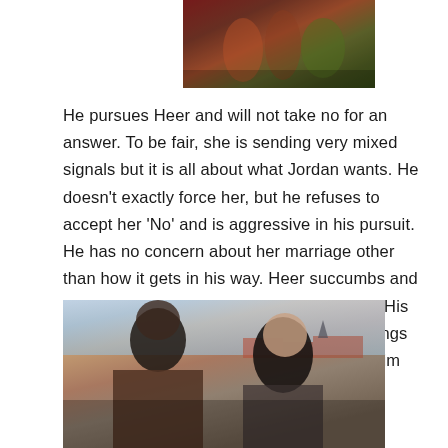[Figure (photo): Colorful scene with people in festive/traditional attire, cropped at top]
He pursues Heer and will not take no for an answer. To be fair, she is sending very mixed signals but it is all about what Jordan wants. He doesn't exactly force her, but he refuses to accept her 'No' and is aggressive in his pursuit. He has no concern about her marriage other than how it gets in his way. Heer succumbs and they have an affair which doesn't end well. His declarations of love were all about his feelings and desires, how he needed her to make him happy and complete.
[Figure (photo): A man and a woman in a close scene outdoors with rooftops in the background, appearing to be from a film]